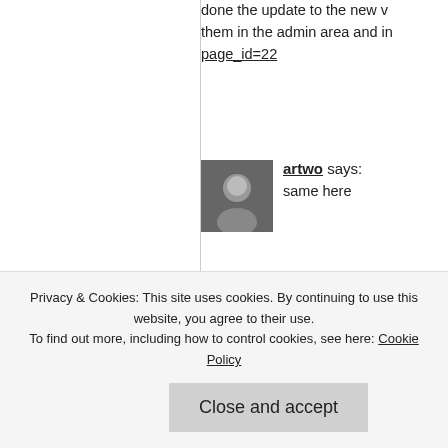done the update to the new version. I deleted them in the admin area and in page_id=22
artwo says: same here
artwo says: Actually, customized template
Megan says: I have still not been able to up...
Privacy & Cookies: This site uses cookies. By continuing to use this website, you agree to their use. To find out more, including how to control cookies, see here: Cookie Policy
Close and accept
still doesn't work. If I click on